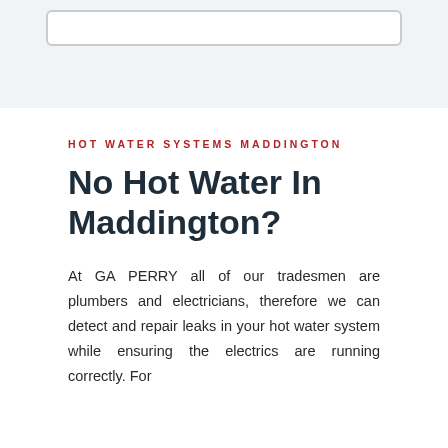HOT WATER SYSTEMS MADDINGTON
No Hot Water In Maddington?
At GA PERRY all of our tradesmen are plumbers and electricians, therefore we can detect and repair leaks in your hot water system while ensuring the electrics are running correctly. For